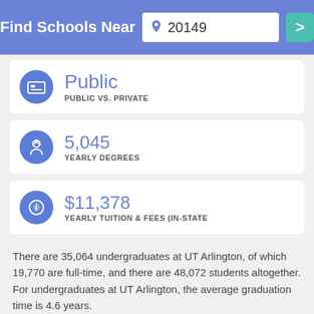Find Schools Near 20149
Public
5,045
$11,378
There are 35,064 undergraduates at UT Arlington, of which 19,770 are full-time, and there are 48,072 students altogether. For undergraduates at UT Arlington, the average graduation time is 4.6 years.
Around 88% of students who apply get accepted. Of the...